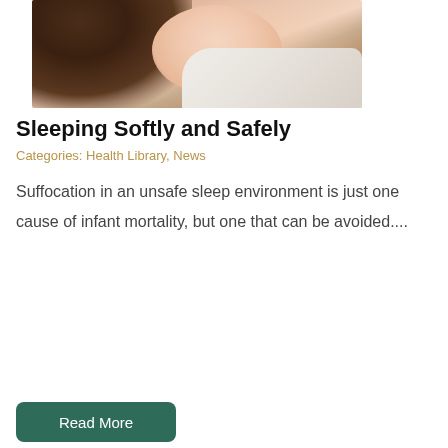[Figure (photo): A mother holding a baby close to her chest; close-up photo showing the mother's dark hair and the baby's skin and white clothing against a light background.]
Sleeping Softly and Safely
Categories: Health Library, News
Suffocation in an unsafe sleep environment is just one cause of infant mortality, but one that can be avoided....
Read More